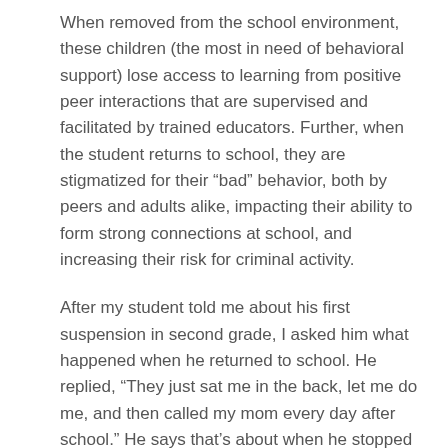When removed from the school environment, these children (the most in need of behavioral support) lose access to learning from positive peer interactions that are supervised and facilitated by trained educators. Further, when the student returns to school, they are stigmatized for their “bad” behavior, both by peers and adults alike, impacting their ability to form strong connections at school, and increasing their risk for criminal activity.
After my student told me about his first suspension in second grade, I asked him what happened when he returned to school. He replied, “They just sat me in the back, let me do me, and then called my mom every day after school.” He says that’s about when he stopped caring for school – because that’s when school stopped caring for him.